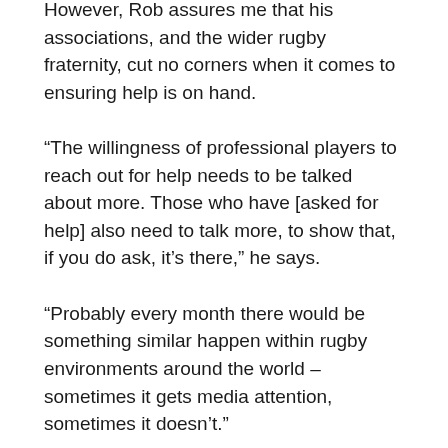However, Rob assures me that his associations, and the wider rugby fraternity, cut no corners when it comes to ensuring help is on hand.
“The willingness of professional players to reach out for help needs to be talked about more. Those who have [asked for help] also need to talk more, to show that, if you do ask, it’s there,” he says.
“Probably every month there would be something similar happen within rugby environments around the world – sometimes it gets media attention, sometimes it doesn’t.”
I guess there are no perfect people; we’re all prone to dropping the ball now and then and, sometimes, the consequences can be disastrous.
I expected to come away from my discussion with Rob wiser,